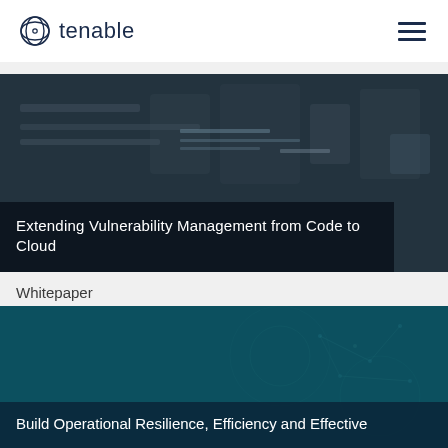tenable
[Figure (screenshot): Dark background image with code/server text representing cybersecurity theme, overlaid with title 'Extending Vulnerability Management from Code to Cloud']
Extending Vulnerability Management from Code to Cloud
Whitepaper
[Figure (illustration): Teal/dark teal background with abstract network pattern, overlaid with partial title 'Build Operational Resilience, Efficiency and Effective']
Build Operational Resilience, Efficiency and Effective